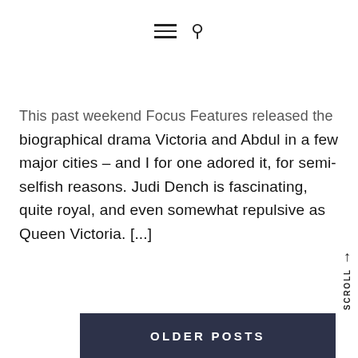[hamburger menu icon] [search icon]
This past weekend Focus Features released the biographical drama Victoria and Abdul in a few major cities – and I for one adored it, for semi-selfish reasons. Judi Dench is fascinating, quite royal, and even somewhat repulsive as Queen Victoria. [...]
OLDER POSTS